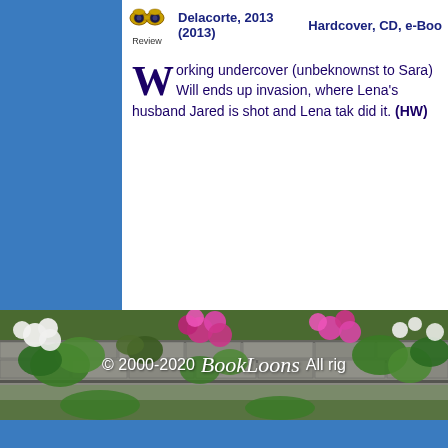[Figure (logo): Eye/Review icon with binoculars and 'Review' text beneath]
Delacorte, 2013 (2013)
Hardcover, CD, e-Boo
Working undercover (unbeknownst to Sara) Will ends up invasion, where Lena's husband Jared is shot and Lena tak did it. (HW)
[Figure (photo): Floral banner footer with flowers (white, pink/magenta blooms) and stone wall background]
© 2000-2020  BookLoons  All rig